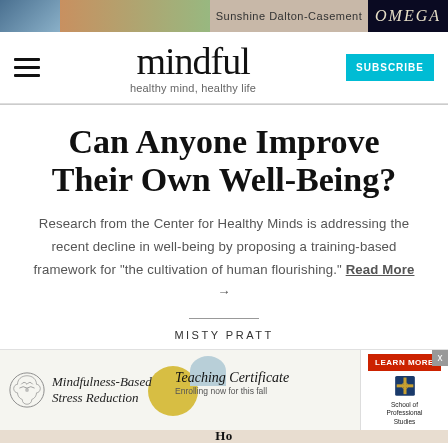[Figure (screenshot): Top banner advertisement with photo and OMEGA brand logo on right]
mindful — healthy mind, healthy life — with hamburger menu and SUBSCRIBE button
Can Anyone Improve Their Own Well-Being?
Research from the Center for Healthy Minds is addressing the recent decline in well-being by proposing a training-based framework for "the cultivation of human flourishing." Read More →
MISTY PRATT
[Figure (screenshot): Bottom advertisement banner showing Mindfulness-Based Stress Reduction and Teaching Certificate with circular graphic elements, alongside a Learn More button and School of Professional Studies logo with close X button]